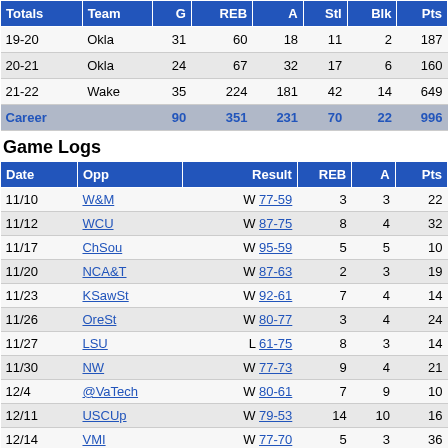| Totals | Team | G | REB | A | Stl | Blk | Pts |
| --- | --- | --- | --- | --- | --- | --- | --- |
| 19-20 | Okla | 31 | 60 | 18 | 11 | 2 | 187 |
| 20-21 | Okla | 24 | 67 | 32 | 17 | 6 | 160 |
| 21-22 | Wake | 35 | 224 | 181 | 42 | 14 | 649 |
| Career |  | 90 | 351 | 231 | 70 | 22 | 996 |
Game Logs
| Date | Opp | Result | REB | A | Pts |
| --- | --- | --- | --- | --- | --- |
| 11/10 | W&M | W 77-59 | 3 | 3 | 22 |
| 11/12 | WCU | W 87-75 | 8 | 4 | 32 |
| 11/17 | ChSou | W 95-59 | 5 | 5 | 10 |
| 11/20 | NCA&T | W 87-63 | 2 | 3 | 19 |
| 11/23 | KSawSt | W 92-61 | 7 | 4 | 14 |
| 11/26 | OreSt | W 80-77 | 3 | 4 | 24 |
| 11/27 | LSU | L 61-75 | 8 | 3 | 14 |
| 11/30 | NW | W 77-73 | 9 | 4 | 21 |
| 12/4 | @VaTech | W 80-61 | 7 | 9 | 10 |
| 12/11 | USCUp | W 79-53 | 14 | 10 | 16 |
| 12/14 | VMI | W 77-70 | 5 | 3 | 36 |